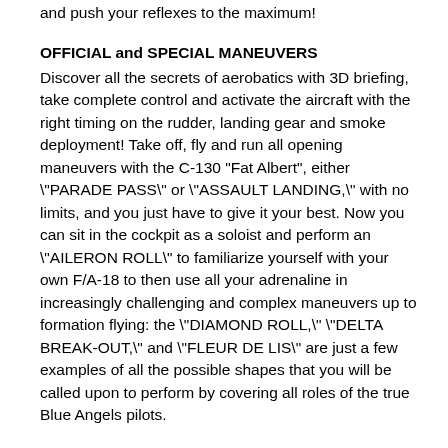and push your reflexes to the maximum!
OFFICIAL and SPECIAL MANEUVERS
Discover all the secrets of aerobatics with 3D briefing, take complete control and activate the aircraft with the right timing on the rudder, landing gear and smoke deployment! Take off, fly and run all opening maneuvers with the C-130 "Fat Albert", either "PARADE PASS" or "ASSAULT LANDING," with no limits, and you just have to give it your best. Now you can sit in the cockpit as a soloist and perform an "AILERON ROLL" to familiarize yourself with your own F/A-18 to then use all your adrenaline in increasingly challenging and complex maneuvers up to formation flying: the "DIAMOND ROLL," "DELTA BREAK-OUT," and "FLEUR DE LIS" are just a few examples of all the possible shapes that you will be called upon to perform by covering all roles of the true Blue Angels pilots.
AIRSHOW
Plan your exhibition by composing real aerobatics with faithfully reproduced official scenarios: NAF El Centro, NAS Key West, Reno, Elmendorf AFB and Baltimore. Your ultimate goal is to complete all airshows! You can do this by executing the real